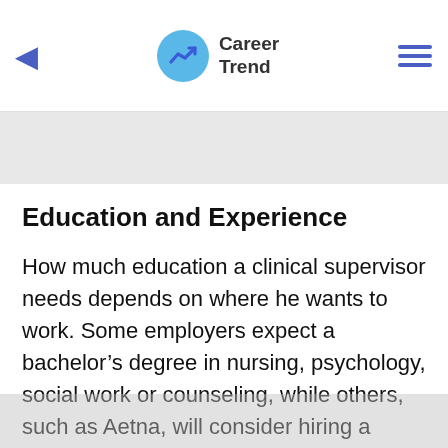Career Trend
[Figure (other): Gray advertisement banner area]
Education and Experience
How much education a clinical supervisor needs depends on where he wants to work. Some employers expect a bachelor’s degree in nursing, psychology, social work or counseling, while others, such as Aetna, will consider hiring a supervisor with an associate's degree and several years of relevant experience. Experience requirements also vary by employer. For example, to work as a clinical